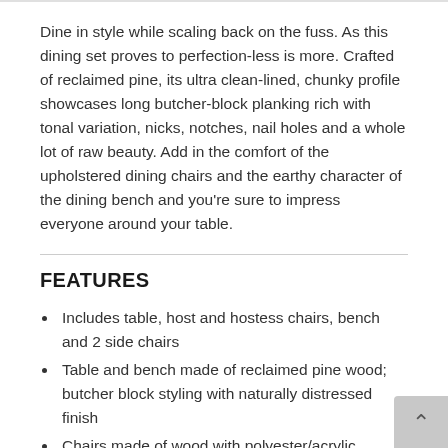Dine in style while scaling back on the fuss. As this dining set proves to perfection-less is more. Crafted of reclaimed pine, its ultra clean-lined, chunky profile showcases long butcher-block planking rich with tonal variation, nicks, notches, nail holes and a whole lot of raw beauty. Add in the comfort of the upholstered dining chairs and the earthy character of the dining bench and you're sure to impress everyone around your table.
FEATURES
Includes table, host and hostess chairs, bench and 2 side chairs
Table and bench made of reclaimed pine wood; butcher block styling with naturally distressed finish
Chairs made of wood with polyester/acrylic